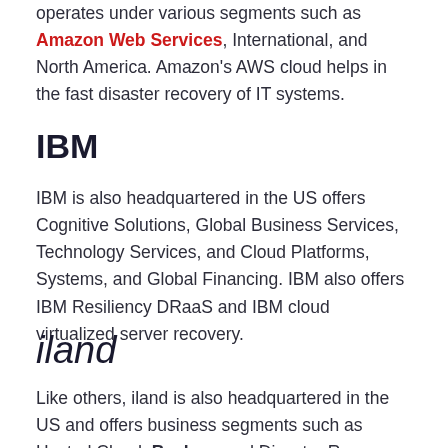operates under various segments such as Amazon Web Services, International, and North America. Amazon's AWS cloud helps in the fast disaster recovery of IT systems.
IBM
IBM is also headquartered in the US offers Cognitive Solutions, Global Business Services, Technology Services, and Cloud Platforms, Systems, and Global Financing. IBM also offers IBM Resiliency DRaaS and IBM cloud virtualized server recovery.
iland
Like others, iland is also headquartered in the US and offers business segments such as Hosted Cloud, Backup, and Disaster Recovery. The company's iland